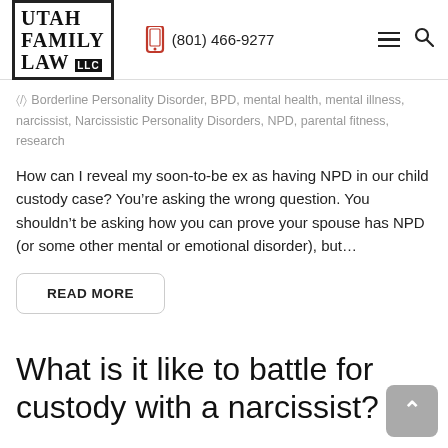Utah Family Law LLC | (801) 466-9277
Borderline Personality Disorder, BPD, mental health, mental illness, narcissist, Narcissistic Personality Disorders, NPD, parental fitness, research
How can I reveal my soon-to-be ex as having NPD in our child custody case? You’re asking the wrong question. You shouldn’t be asking how you can prove your spouse has NPD (or some other mental or emotional disorder), but…
READ MORE
What is it like to battle for custody with a narcissist?